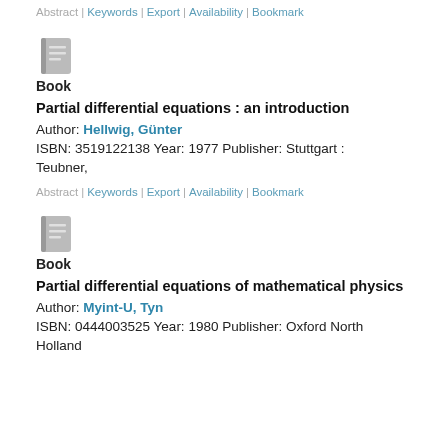Abstract | Keywords | Export | Availability | Bookmark
[Figure (illustration): Book icon (gray stylized book with lines)]
Book
Partial differential equations : an introduction
Author: Hellwig, Günter
ISBN: 3519122138 Year: 1977 Publisher: Stuttgart : Teubner,
Abstract | Keywords | Export | Availability | Bookmark
[Figure (illustration): Book icon (gray stylized book with lines)]
Book
Partial differential equations of mathematical physics
Author: Myint-U, Tyn
ISBN: 0444003525 Year: 1980 Publisher: Oxford North Holland